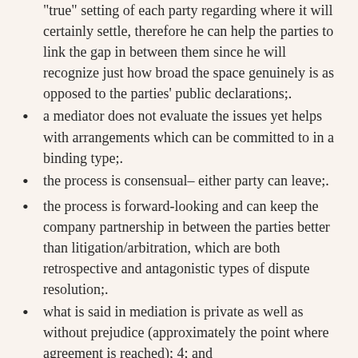“true” setting of each party regarding where it will certainly settle, therefore he can help the parties to link the gap in between them since he will recognize just how broad the space genuinely is as opposed to the parties’ public declarations;.
a mediator does not evaluate the issues yet helps with arrangements which can be committed to in a binding type;.
the process is consensual– either party can leave;.
the process is forward-looking and can keep the company partnership in between the parties better than litigation/arbitration, which are both retrospective and antagonistic types of dispute resolution;.
what is said in mediation is private as well as without prejudice (approximately the point where agreement is reached); 4; and